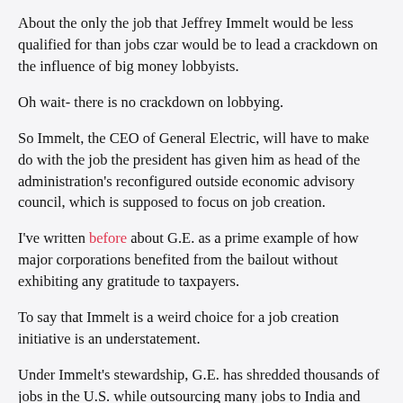About the only the job that Jeffrey Immelt would be less qualified for than jobs czar would be to lead a crackdown on the influence of big money lobbyists.
Oh wait- there is no crackdown on lobbying.
So Immelt, the CEO of General Electric, will have to make do with the job the president has given him as head of the administration's reconfigured outside economic advisory council, which is supposed to focus on job creation.
I've written before about G.E. as a prime example of how major corporations benefited from the bailout without exhibiting any gratitude to taxpayers.
To say that Immelt is a weird choice for a job creation initiative is an understatement.
Under Immelt's stewardship, G.E. has shredded thousands of jobs in the U.S. while outsourcing many jobs to India and China. In the years before the financial collapse, G.E. focused on building up its enormous credit operation, which melted down under